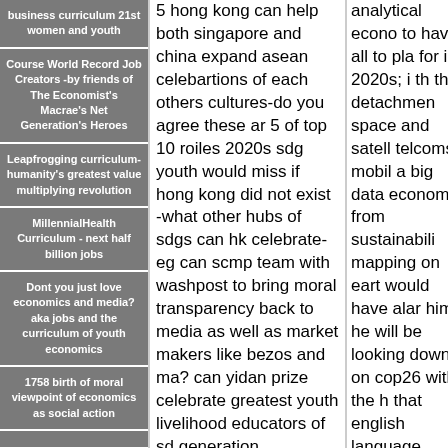business curriculum 21st women and youth
Course World Record Job Creators -by friends of The Economist's Macrae's Net Generation's Heroes
Leapfrogging curriculum- humanity's greatest value multiplying revolution
MillennialHealth Curriculum - next half billion jobs
Dont you just love economics and media? aka jobs and the curriculum of youth economics
1758 birth of moral viewpoint of economics as social action
5 hong kong can help both singapore and china expand asean celebartions of each others cultures-do you agree these ar 5 of top 10 roiles 2020s sdg youth would miss if hong kong did not exist -what other hubs of sdgs can hk celebrate- eg can scmp team with washpost to bring moral transparency back to media as well as market makers like bezos and ma? can yidan prize celebrate greatest youth livelihood educators of sd generation
analytical econo to have all to pla for in 2020s; i th the detachmen space and satell telcoms mobil a big data econom from sustainabili mapping on eart would have alar him- he will be looking down on cop26 with the h that english language people are newly free in 2021 after the ta sadnesses of 9/ middle east refugees, subpri and whatever is rule of lairs curr